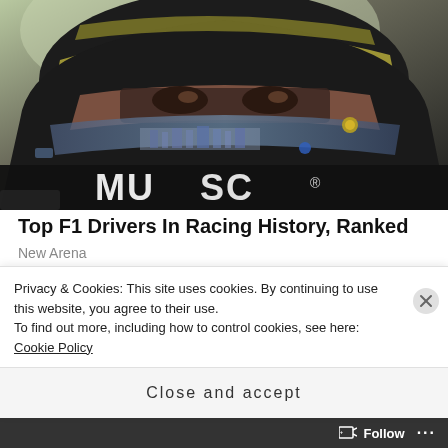[Figure (photo): Close-up photo of an F1 racing driver wearing a black helmet with yellow/green accents. The visor reflects scenery. The helmet has 'MUSC' branding visible on the lower portion.]
Top F1 Drivers In Racing History, Ranked
New Arena
SHARE THIS:
Privacy & Cookies: This site uses cookies. By continuing to use this website, you agree to their use.
To find out more, including how to control cookies, see here: Cookie Policy
Close and accept
FOLLOW